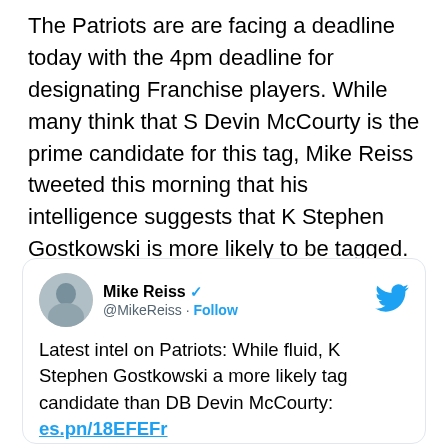The Patriots are are facing a deadline today with the 4pm deadline for designating Franchise players. While many think that S Devin McCourty is the prime candidate for this tag, Mike Reiss tweeted this morning that his intelligence suggests that K Stephen Gostkowski is more likely to be tagged.
[Figure (screenshot): Embedded tweet from Mike Reiss (@MikeReiss) with verified badge and Follow button. Tweet text: 'Latest intel on Patriots: While fluid, K Stephen Gostkowski a more likely tag candidate than DB Devin McCourty: es.pn/18EFEFr'. Timestamp: 2:44 PM · Mar 2, 2015.]